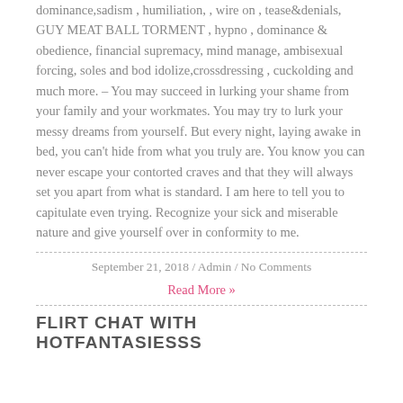dominance,sadism , humiliation, , wire on , tease&denials, GUY MEAT BALL TORMENT , hypno , dominance & obedience, financial supremacy, mind manage, ambisexual forcing, soles and bod idolize,crossdressing , cuckolding and much more. – You may succeed in lurking your shame from your family and your workmates. You may try to lurk your messy dreams from yourself. But every night, laying awake in bed, you can't hide from what you truly are. You know you can never escape your contorted craves and that they will always set you apart from what is standard. I am here to tell you to capitulate even trying. Recognize your sick and miserable nature and give yourself over in conformity to me.
September 21, 2018 / Admin / No Comments
Read More »
FLIRT CHAT WITH HOTFANTASIESSS